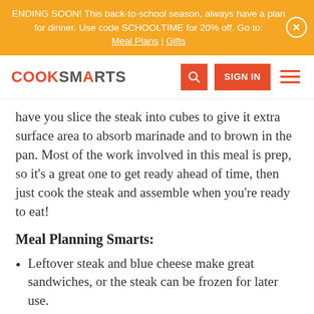ENDING SOON! This back-to-school season, always have a plan for dinner. Use code SCHOOLTIME for 20% off. Go to: Meal Plans | Gifts
[Figure (screenshot): CookSmarts website navigation bar with logo, search button, sign in button, and hamburger menu]
have you slice the steak into cubes to give it extra surface area to absorb marinade and to brown in the pan. Most of the work involved in this meal is prep, so it’s a great one to get ready ahead of time, then just cook the steak and assemble when you’re ready to eat!
Meal Planning Smarts:
Leftover steak and blue cheese make great sandwiches, or the steak can be frozen for later use.